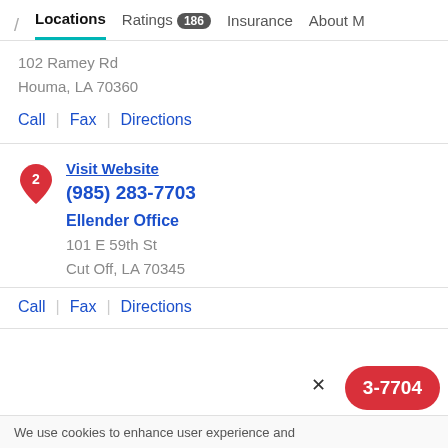/ Locations  Ratings 186  Insurance  About M
102 Ramey Rd
Houma, LA 70360
Call | Fax | Directions
Visit Website
(985) 283-7703
Ellender Office
101 E 59th St
Cut Off, LA 70345
Call | Fax | Directions
3-7704
We use cookies to enhance user experience and